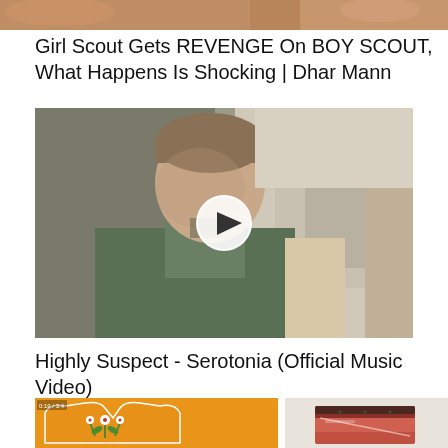[Figure (screenshot): Top cropped image strip showing partial view of a YouTube video thumbnail for Girl Scout Gets REVENGE On BOY SCOUT]
Girl Scout Gets REVENGE On BOY SCOUT, What Happens Is Shocking | Dhar Mann
[Figure (screenshot): Video thumbnail for Highly Suspect - Serotonia Official Music Video, showing a young man in a green jacket with a play button overlay, set against a ruined building background]
Highly Suspect - Serotonia (Official Music Video)
[Figure (screenshot): Two partial video thumbnails at the bottom: left shows an orange background with a floral embroidered design, right shows a piece of cooked salmon or fish on a white surface]